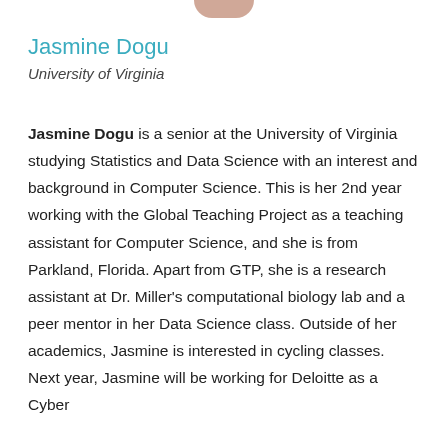[Figure (photo): Partial photo of Jasmine Dogu, cropped at top of page]
Jasmine Dogu
University of Virginia
Jasmine Dogu is a senior at the University of Virginia studying Statistics and Data Science with an interest and background in Computer Science. This is her 2nd year working with the Global Teaching Project as a teaching assistant for Computer Science, and she is from Parkland, Florida. Apart from GTP, she is a research assistant at Dr. Miller's computational biology lab and a peer mentor in her Data Science class. Outside of her academics, Jasmine is interested in cycling classes. Next year, Jasmine will be working for Deloitte as a Cyber